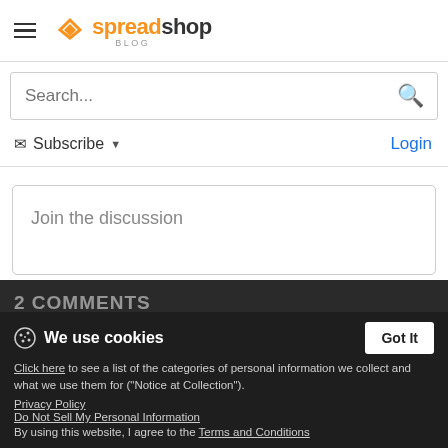spreadshop BLOG
Search...
Subscribe  Login
Join the discussion
2 COMMENTS
We use cookies
Click here to see a list of the categories of personal information we collect and what we use them for ("Notice at Collection").
Privacy Policy
Do Not Sell My Personal Information
By using this website, I agree to the Terms and Conditions